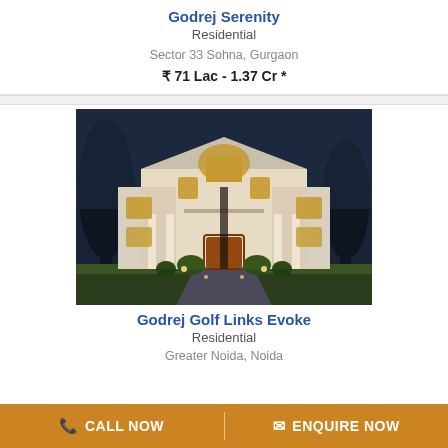Godrej Serenity
Residential
Sector 33 Sohna, Gurgaon
₹ 71 Lac - 1.37 Cr *
[Figure (photo): Luxury residential property exterior at dusk, illuminated facade with arched windows and manicured garden]
Godrej Golf Links Evoke
Residential
Greater Noida, Noida
CALL NOW | ENQUIRE NOW